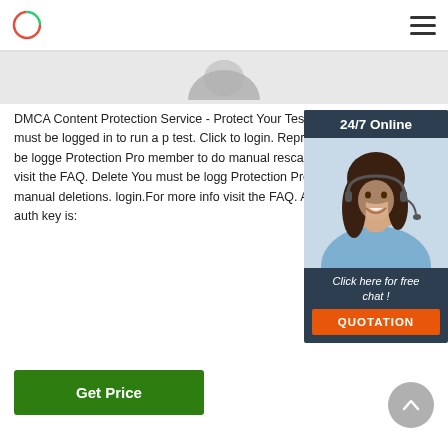Logo and navigation header
[Figure (photo): Partial top image strip showing what appears to be a hat or person's head cropped at top]
DMCA Content Protection Service - Protect Your Test your Page You must be logged in to run a p test. Click to login. Reprocess You must be logged Protection Pro member to do manual rescans. C more info visit the FAQ. Delete You must be logg Protection Pro member to do manual deletions. login.For more info visit the FAQ. Auth Key Certi auth key is:
[Figure (photo): 24/7 Online chat widget with photo of smiling woman with headset, Click here for free chat button, and QUOTATION button]
[Figure (other): Green Get Price button]
[Figure (other): Grey circular scroll-to-top arrow button]